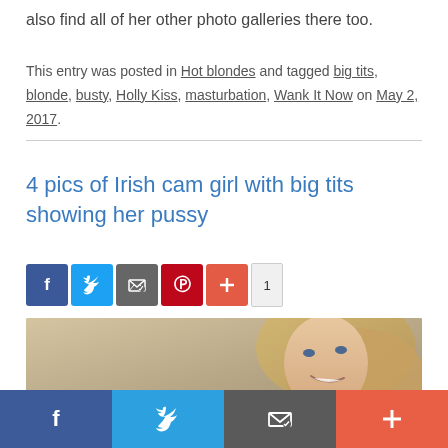also find all of her other photo galleries there too.
This entry was posted in Hot blondes and tagged big tits, blonde, busty, Holly Kiss, masturbation, Wank It Now on May 2, 2017.
4 pics of Irish cam girl with big tits showing her pussy
[Figure (infographic): Social sharing buttons: Facebook, Twitter, Email, Pinterest, Plus, with count of 1]
[Figure (photo): Photo of a young woman with long blonde hair smiling, close-up selfie shot]
[Figure (infographic): Bottom social sharing bar with Facebook, Twitter, Email, and Plus buttons]